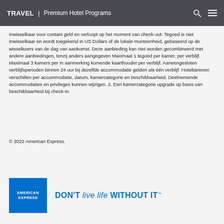TRAVEL | Premium Hotel Programs
inwisselbaar voor contant geld en verloopt op het moment van check-out. Tegoed is niet inwisselbaar en wordt toegekend in US Dollars of de lokale munteenheid, gebaseerd op de wisselkoers van de dag van aankomst. Deze aanbieding kan niet worden gecombineerd met andere aanbiedingen, tenzij anders aangegeven Maximaal 1 tegoed per kamer, per verblijf. Maximaal 3 kamers per in aanmerking komende kaarthouder per verblijf. Aaneengesloten verblijfsperioden binnen 24 uur bij dezelfde accommodatie gelden als één verblijf. Hoteltarieven verschillen per accommodatie, datum, kamercategorie en beschikbaarheid. Deelnemende accommodaties en privileges kunnen wijzigen. 2. Een kamercategorie upgrade op basis van beschikbaarheid bij check-in.
© 2022 American Express.
[Figure (logo): American Express logo: blue rectangle with AMERICAN EXPRESS text in white, followed by DON'T live life WITHOUT IT tagline in blue]